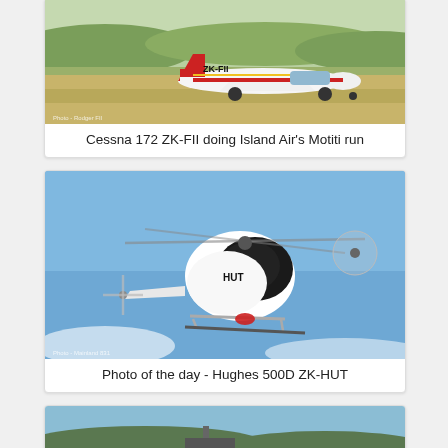[Figure (photo): Cessna 172 ZK-FII aircraft on the ground with red and white livery, registration ZK-FII visible on tail. Green fields and hills in background. Photo credit watermark in lower left.]
Cessna 172 ZK-FII doing Island Air's Motiti run
[Figure (photo): Hughes 500D helicopter ZK-HUT in flight against blue sky with clouds. White and black livery, registration HUT visible on fuselage. Photo credit watermark in lower left.]
Photo of the day - Hughes 500D ZK-HUT
[Figure (photo): Partially visible third aircraft photo, showing water/coastal scene. Cropped at bottom of page.]